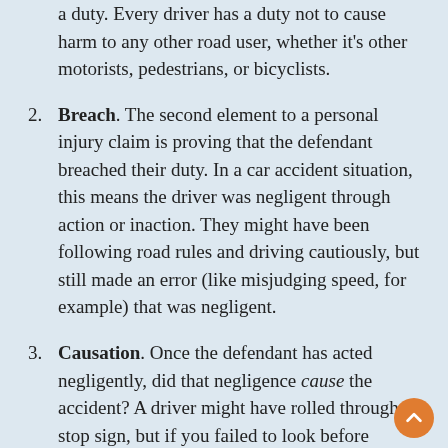a duty. Every driver has a duty not to cause harm to any other road user, whether it's other motorists, pedestrians, or bicyclists.
Breach. The second element to a personal injury claim is proving that the defendant breached their duty. In a car accident situation, this means the driver was negligent through action or inaction. They might have been following road rules and driving cautiously, but still made an error (like misjudging speed, for example) that was negligent.
Causation. Once the defendant has acted negligently, did that negligence cause the accident? A driver might have rolled through a stop sign, but if you failed to look before proceeding through an intersection, the